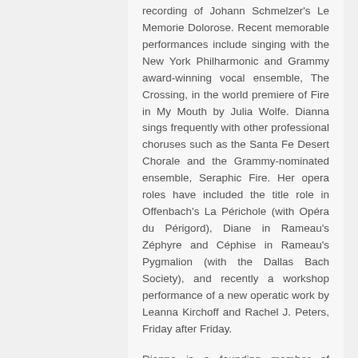recording of Johann Schmelzer's Le Memorie Dolorose. Recent memorable performances include singing with the New York Philharmonic and Grammy award-winning vocal ensemble, The Crossing, in the world premiere of Fire in My Mouth by Julia Wolfe. Dianna sings frequently with other professional choruses such as the Santa Fe Desert Chorale and the Grammy-nominated ensemble, Seraphic Fire. Her opera roles have included the title role in Offenbach's La Périchole (with Opéra du Périgord), Diane in Rameau's Zéphyre and Céphise in Rameau's Pygmalion (with the Dallas Bach Society), and recently a workshop performance of a new operatic work by Leanna Kirchoff and Rachel J. Peters, Friday after Friday.
Dianna is a founding member of Armonia Celeste, an ensemble specializing in the music of...